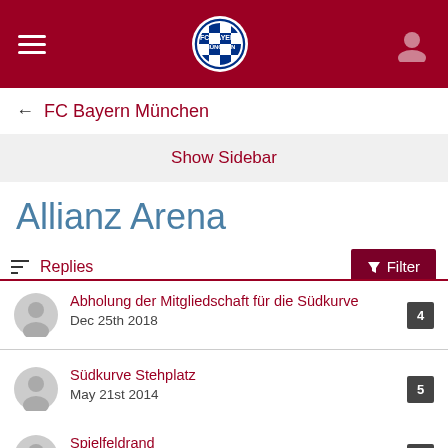[Figure (screenshot): FC Bayern München mobile app top navigation bar with hamburger menu, FC Bayern München circular logo, and user profile icon on dark red background]
← FC Bayern München
Show Sidebar
Allianz Arena
Replies   Filter
Abholung der Mitgliedschaft für die Südkurve — Dec 25th 2018 — 4 replies
Südkurve Stehplatz — May 21st 2014 — 5 replies
Spielfeldrand — Oct 14th 2018 — 5 replies